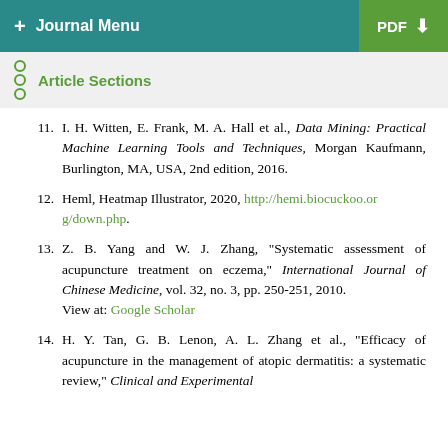+ Journal Menu | PDF
Article Sections
11. I. H. Witten, E. Frank, M. A. Hall et al., Data Mining: Practical Machine Learning Tools and Techniques, Morgan Kaufmann, Burlington, MA, USA, 2nd edition, 2016.
12. Heml, Heatmap Illustrator, 2020, http://hemi.biocuckoo.org/down.php.
13. Z. B. Yang and W. J. Zhang, "Systematic assessment of acupuncture treatment on eczema," International Journal of Chinese Medicine, vol. 32, no. 3, pp. 250-251, 2010. View at: Google Scholar
14. H. Y. Tan, G. B. Lenon, A. L. Zhang et al., "Efficacy of acupuncture in the management of atopic dermatitis: a systematic review," Clinical and Experimental